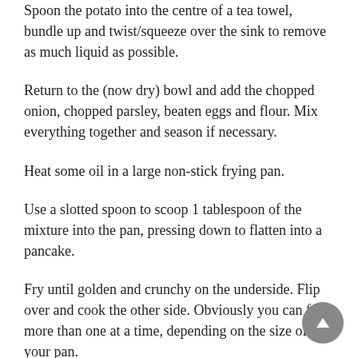Spoon the potato into the centre of a tea towel, bundle up and twist/squeeze over the sink to remove as much liquid as possible.
Return to the (now dry) bowl and add the chopped onion, chopped parsley, beaten eggs and flour. Mix everything together and season if necessary.
Heat some oil in a large non-stick frying pan.
Use a slotted spoon to scoop 1 tablespoon of the mixture into the pan, pressing down to flatten into a pancake.
Fry until golden and crunchy on the underside. Flip over and cook the other side. Obviously you can fry more than one at a time, depending on the size of your pan.
Place cooked rostis on a paper towel and keep warm until all are cooked.